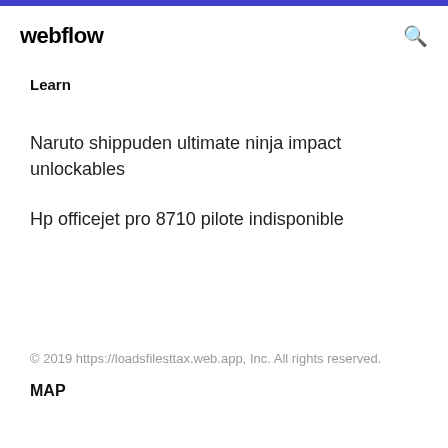webflow
Learn
Naruto shippuden ultimate ninja impact unlockables
Hp officejet pro 8710 pilote indisponible
© 2019 https://loadsfilesttax.web.app, Inc. All rights reserved.
MAP